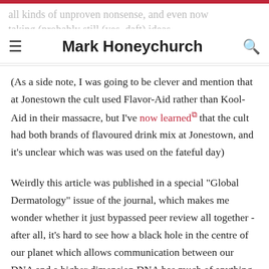all kinds of unproven nonsense, and even now taking (probably still daft) ideas. — Mark Honeychurch
(As a side note, I was going to be clever and mention that at Jonestown the cult used Flavor-Aid rather than Kool-Aid in their massacre, but I've now learned that the cult had both brands of flavoured drink mix at Jonestown, and it's unclear which was was used on the fateful day)
Weirdly this article was published in a special "Global Dermatology" issue of the journal, which makes me wonder whether it just bypassed peer review all together - after all, it's hard to see how a black hole in the centre of our planet which allows communication between our DNA and a higher dimension DNA has much of anything to do with skin, hair or nails. And it turns out that this isn't the only recent dermatology